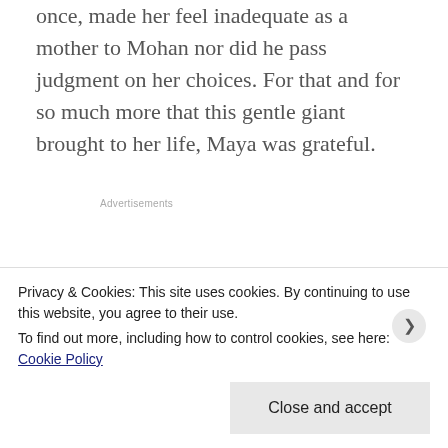once, made her feel inadequate as a mother to Mohan nor did he pass judgment on her choices. For that and for so much more that this gentle giant brought to her life, Maya was grateful.
Advertisements
Unwinding her arms from his middle, Maya looked
Privacy & Cookies: This site uses cookies. By continuing to use this website, you agree to their use.
To find out more, including how to control cookies, see here: Cookie Policy
Close and accept